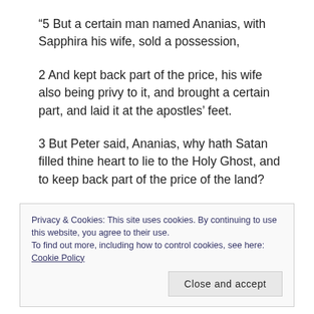“5 But a certain man named Ananias, with Sapphira his wife, sold a possession,
2 And kept back part of the price, his wife also being privy to it, and brought a certain part, and laid it at the apostles’ feet.
3 But Peter said, Ananias, why hath Satan filled thine heart to lie to the Holy Ghost, and to keep back part of the price of the land?
Privacy & Cookies: This site uses cookies. By continuing to use this website, you agree to their use.
To find out more, including how to control cookies, see here: Cookie Policy
Close and accept